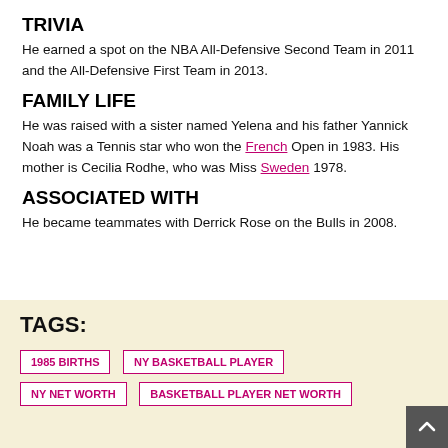TRIVIA
He earned a spot on the NBA All-Defensive Second Team in 2011 and the All-Defensive First Team in 2013.
FAMILY LIFE
He was raised with a sister named Yelena and his father Yannick Noah was a Tennis star who won the French Open in 1983. His mother is Cecilia Rodhe, who was Miss Sweden 1978.
ASSOCIATED WITH
He became teammates with Derrick Rose on the Bulls in 2008.
TAGS:
1985 BIRTHS
NY BASKETBALL PLAYER
NY NET WORTH
BASKETBALL PLAYER NET WORTH